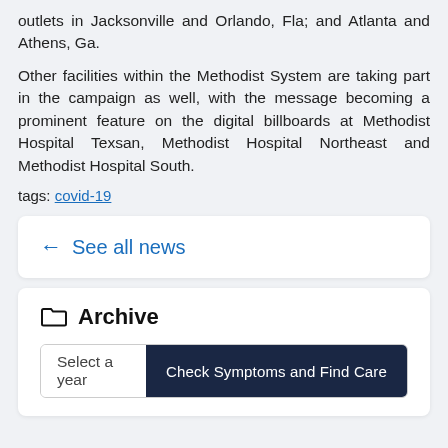outlets in Jacksonville and Orlando, Fla; and Atlanta and Athens, Ga.
Other facilities within the Methodist System are taking part in the campaign as well, with the message becoming a prominent feature on the digital billboards at Methodist Hospital Texsan, Methodist Hospital Northeast and Methodist Hospital South.
tags: covid-19
← See all news
Archive
Select a year | Check Symptoms and Find Care